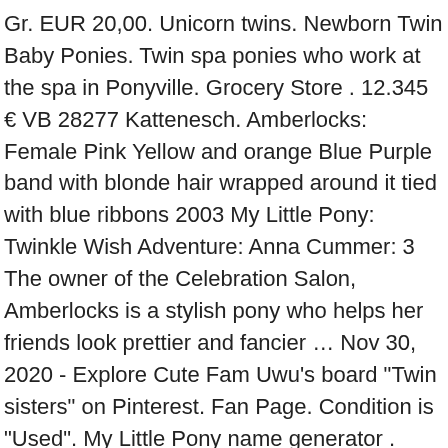Gr. EUR 20,00. Unicorn twins. Newborn Twin Baby Ponies. Twin spa ponies who work at the spa in Ponyville. Grocery Store . 12.345 € VB 28277 Kattenesch. Amberlocks: Female Pink Yellow and orange Blue Purple band with blonde hair wrapped around it tied with blue ribbons 2003 My Little Pony: Twinkle Wish Adventure: Anna Cummer: 3 The owner of the Celebration Salon, Amberlocks is a stylish pony who helps her friends look prettier and fancier … Nov 30, 2020 - Explore Cute Fam Uwu's board "Twin sisters" on Pinterest. Fan Page. Condition is "Used". My Little Pony name generator . While My Little Pony and Friends was generally … Confirm My Choices Allow All. Pinkie Pie babysits the newborn twins of Mr. and Mrs. Cake, but she finds that the task is much harder than she initially expected. So we've separated them by Cast Herd. As in